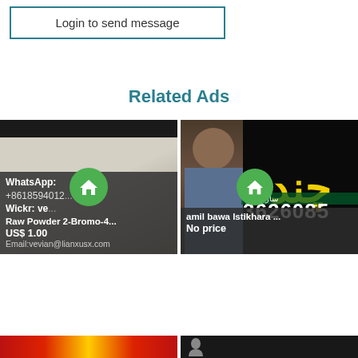Login to send message
Related Ads
[Figure (photo): Ad card showing white powder substance with home icon overlay. Title: Raw Powder 2-Bromo-4... Price: US$ 1.00. Body text includes WhatsApp, phone number, Wickr, and Email details.]
[Figure (photo): Ad card with Urdu text in yellow on black background, person image on left. Title: amil bawa Istikhara ... Price: No price. Shows phone number 3626085.]
[Figure (photo): Bottom left partial ad card with red and yellow striped background.]
[Figure (photo): Bottom right partial ad card with dark background and partial person image.]